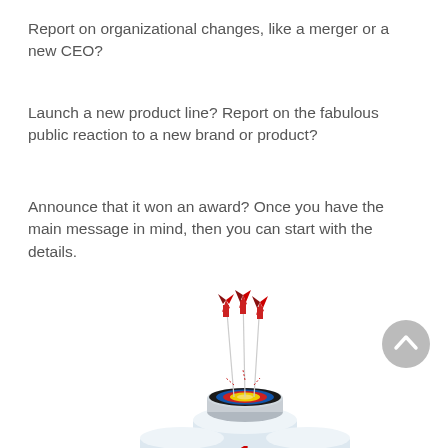Report on organizational changes, like a merger or a new CEO?
Launch a new product line? Report on the fabulous public reaction to a new brand or product?
Announce that it won an award? Once you have the main message in mind, then you can start with the details.
[Figure (illustration): Illustration of an archery target with three red arrows hitting the bullseye, placed on top of a first-place podium (numbered 1, 2, 3).]